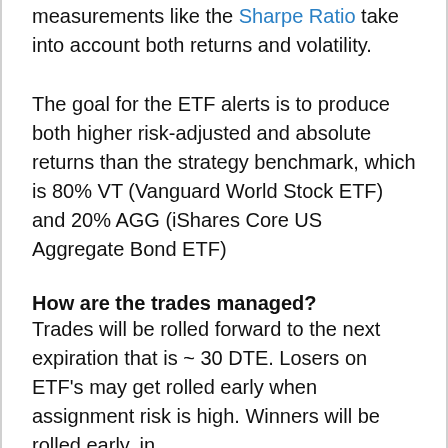measurements like the Sharpe Ratio take into account both returns and volatility.
The goal for the ETF alerts is to produce both higher risk-adjusted and absolute returns than the strategy benchmark, which is 80% VT (Vanguard World Stock ETF) and 20% AGG (iShares Core US Aggregate Bond ETF)
How are the trades managed?
Trades will be rolled forward to the next expiration that is ~ 30 DTE. Losers on ETF's may get rolled early when assignment risk is high. Winners will be rolled early, in